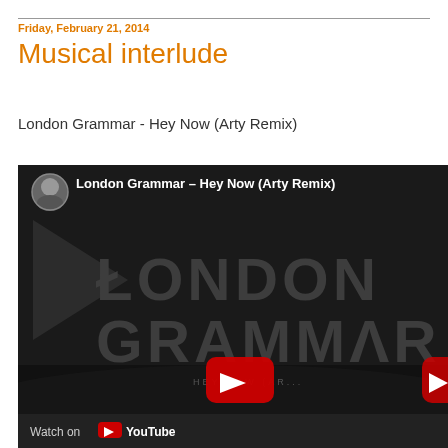Friday, February 21, 2014
Musical interlude
London Grammar - Hey Now (Arty Remix)
[Figure (screenshot): Embedded YouTube video thumbnail showing London Grammar – Hey Now (Arty Remix) with dark background, large 'LONDON GRAMMAR' text overlay, YouTube play button, and channel icon. Bottom bar shows 'Watch on YouTube' text with YouTube logo.]